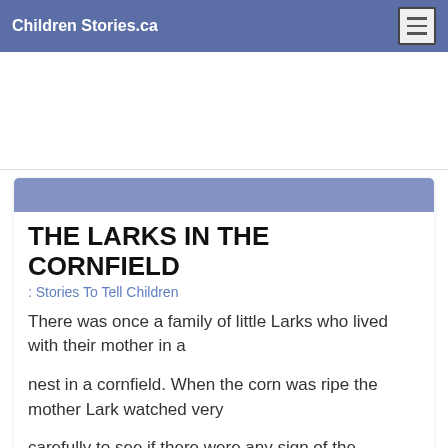Children Stories.ca
[Figure (other): Advertisement placeholder area]
THE LARKS IN THE CORNFIELD
: Stories To Tell Children
There was once a family of little Larks who lived with their mother in a
nest in a cornfield. When the corn was ripe the mother Lark watched very
carefully to see if there were any sign of the reapers'